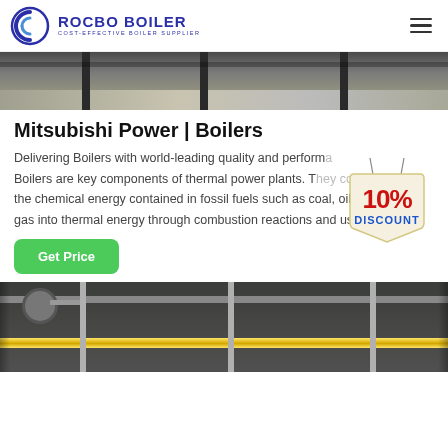ROCBO BOILER — COST-EFFECTIVE BOILER SUPPLIER
[Figure (photo): Warehouse or industrial facility interior — top partial image strip]
Mitsubishi Power | Boilers
Delivering Boilers with world-leading quality and performance. Boilers are key components of thermal power plants. They convert the chemical energy contained in fossil fuels such as coal, oil and gas into thermal energy through combustion reactions and use th…
[Figure (infographic): 10% DISCOUNT badge/sticker overlay]
[Figure (photo): Industrial boiler room with yellow pipes and vertical pipe columns — bottom partial image strip]